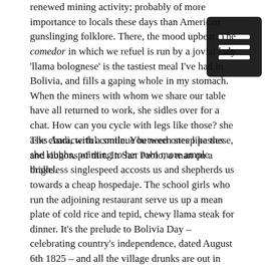renewed mining activity; probably of more importance to locals these days than American gunslinging folklore. There, the mood upbeat. The comedor in which we refuel is run by a jovial lady 'llama bolognese' is the tastiest meal I've had in Bolivia, and fills a gaping whole in my stomach. When the miners with whom we share our table have all returned to work, she sidles over for a chat. How can you cycle with legs like those? she asks Andi, with a smile. You need ones like these, she laughs, pointing to her own more ample thighs.
The characterful continue between steep passes and ribbons of dirt. In San Pablo, a man on a brakeless singlespeed accosts us and shepherds us towards a cheap hospedaje. The school girls who run the adjoining restaurant serve us up a mean plate of cold rice and tepid, chewy llama steak for dinner. It's the prelude to Bolivia Day – celebrating country's independence, dated August 6th 1825 – and all the village drunks are out in force. Their tipple? Coca Cola, blended with a local brew so potent we use it to light our stoves – which, by the looks of it, also guarantees total inebriation for 48 hours straight. It's of little surprise that when we order breakfast the next morning for 7am, it finally appears in the form of a plate of cold rice, fried eggs and translucent coffee over two hours later.